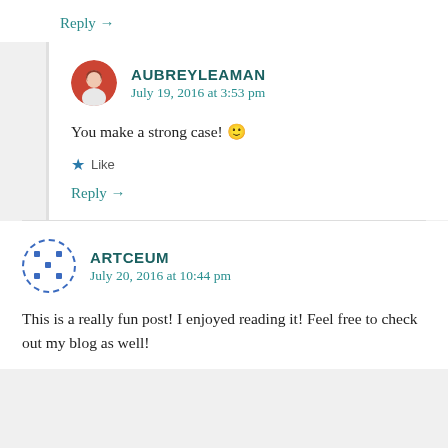Reply →
AUBREYLEAMAN
July 19, 2016 at 3:53 pm
You make a strong case! 🙂
★ Like
Reply →
ARTCEUM
July 20, 2016 at 10:44 pm
This is a really fun post! I enjoyed reading it! Feel free to check out my blog as well!